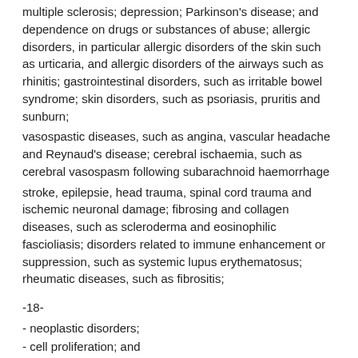multiple sclerosis; depression; Parkinson's disease; and dependence on drugs or substances of abuse; allergic disorders, in particular allergic disorders of the skin such as urticaria, and allergic disorders of the airways such as rhinitis; gastrointestinal disorders, such as irritable bowel syndrome; skin disorders, such as psoriasis, pruritis and sunburn;
vasospastic diseases, such as angina, vascular headache and Reynaud's disease; cerebral ischaemia, such as cerebral vasospasm following subarachnoid haemorrhage
stroke, epilepsie, head trauma, spinal cord trauma and ischemic neuronal damage; fibrosing and collagen diseases, such as scleroderma and eosinophilic fascioliasis; disorders related to immune enhancement or suppression, such as systemic lupus erythematosus; rheumatic diseases, such as fibrositis;
-18-
- neoplastic disorders;
- cell proliferation; and
- cough.